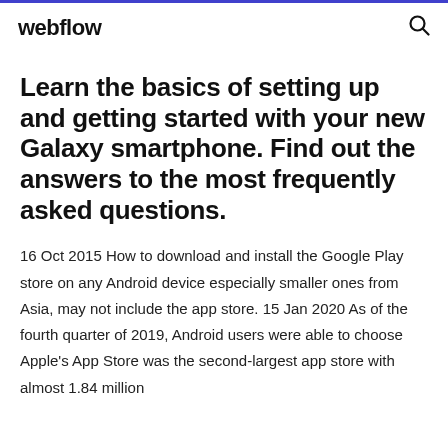webflow
Learn the basics of setting up and getting started with your new Galaxy smartphone. Find out the answers to the most frequently asked questions.
16 Oct 2015 How to download and install the Google Play store on any Android device especially smaller ones from Asia, may not include the app store. 15 Jan 2020 As of the fourth quarter of 2019, Android users were able to choose Apple's App Store was the second-largest app store with almost 1.84 million